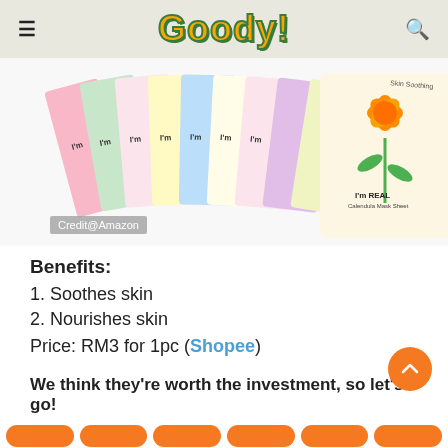Goody!
[Figure (photo): Multiple TonyMoly I'm Real face mask sheet packets fanned out, with the Calendula Mask Sheet most prominent in front, showing orange marigold flower illustration. Credit@Amazon label visible.]
Credit@Amazon
Benefits:
1. Soothes skin
2. Nourishes skin
Price: RM3 for 1pc (Shopee)
We think they're worth the investment, so let's go!